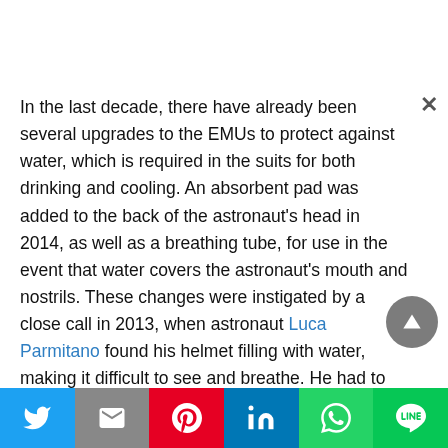In the last decade, there have already been several upgrades to the EMUs to protect against water, which is required in the suits for both drinking and cooling. An absorbent pad was added to the back of the astronaut's head in 2014, as well as a breathing tube, for use in the event that water covers the astronaut's mouth and nostrils. These changes were instigated by a close call in 2013, when astronaut Luca Parmitano found his helmet filling with water, making it difficult to see and breathe. He had to cut his spacewalk short and